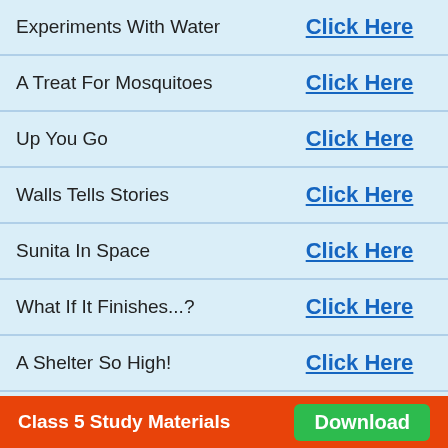| Title | Link |
| --- | --- |
| Experiments With Water | Click Here |
| A Treat For Mosquitoes | Click Here |
| Up You Go | Click Here |
| Walls Tells Stories | Click Here |
| Sunita In Space | Click Here |
| What If It Finishes...? | Click Here |
| A Shelter So High! | Click Here |
| When The Earth Shook! | Click Here |
| Blow Hot, Blow Cold | Click Here |
Class 5 Study Materials   Download